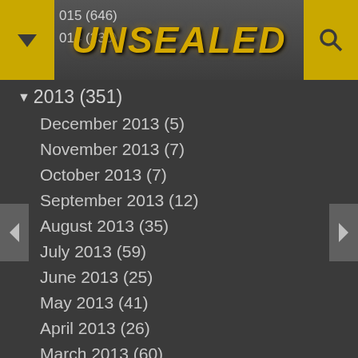UNSEALED
2015 (646)
2014 (236)
▼ 2013 (351)
December 2013 (5)
November 2013 (7)
October 2013 (7)
September 2013 (12)
August 2013 (35)
July 2013 (59)
June 2013 (25)
May 2013 (41)
April 2013 (26)
March 2013 (60)
February 2013 (41)
January 2013 (33)
► 2012 (278)
► 2011 (309)
► 2010 (175)